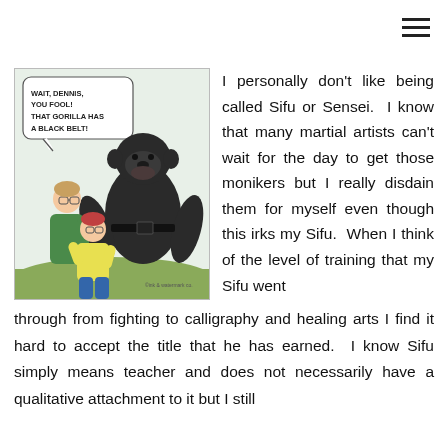≡
[Figure (illustration): Comic strip showing two people (an adult and a child) facing a large gorilla outdoors. Speech bubble reads: WAIT, DENNIS, YOU FOOL! THAT GORILLA HAS A BLACK BELT!]
I personally don't like being called Sifu or Sensei. I know that many martial artists can't wait for the day to get those monikers but I really disdain them for myself even though this irks my Sifu. When I think of the level of training that my Sifu went through from fighting to calligraphy and healing arts I find it hard to accept the title that he has earned. I know Sifu simply means teacher and does not necessarily have a qualitative attachment to it but I still